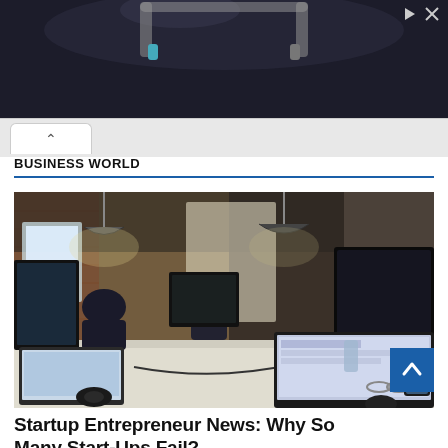[Figure (photo): Advertisement banner: 'Download Helbiz and ride' text over dark background with scooter handlebar imagery. Small ad icons (play/close) in top-right corner.]
[Figure (screenshot): Browser tab bar showing a back-navigation tab with an up-arrow caret icon.]
BUSINESS WORLD
[Figure (photo): Photo of a startup/co-working office space with people working at desks with computers and laptops on white tables, brick walls and industrial lighting in background.]
Startup Entrepreneur News: Why So Many Start-Ups Fail?